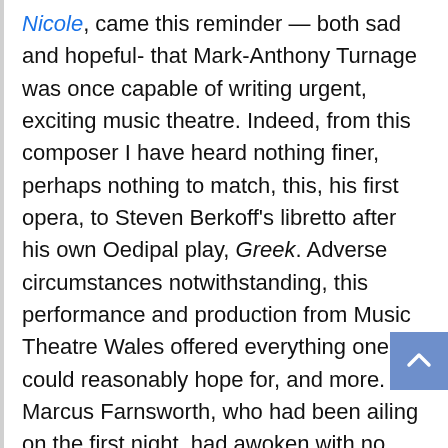Nicole, came this reminder — both sad and hopeful- that Mark-Anthony Turnage was once capable of writing urgent, exciting music theatre. Indeed, from this composer I have heard nothing finer, perhaps nothing to match, this, his first opera, to Steven Berkoff's libretto after his own Oedipal play, Greek. Adverse circumstances notwithstanding, this performance and production from Music Theatre Wales offered everything one could reasonably hope for, and more. Marcus Farnsworth, who had been ailing on the first night, had awoken with no voice, to be replaced by an heroic combination of the flown-in-from-Berlin-that-afternoon Alastair Shelton-Smith to sing the part on stage and Michael McCarthy to act, to